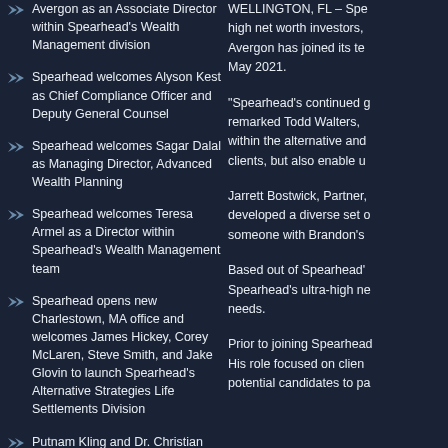Avergon as an Associate Director within Spearhead's Wealth Management division
Spearhead welcomes Alyson Kest as Chief Compliance Officer and Deputy General Counsel
Spearhead welcomes Sagar Dalal as Managing Director, Advanced Wealth Planning
Spearhead welcomes Teresa Armel as a Director within Spearhead's Wealth Management team
Spearhead opens new Charlestown, MA office and welcomes James Hickey, Corey McLaren, Steve Smith, and Jake Glovin to launch Spearhead's Alternative Strategies Life Settlements Division
Putnam Kling and Dr. Christian Kling join Spearhead as Director of Wealth Management, ESG Specialist and Senior Advisor, ESG Specialist, respectively
Chris Fineburg joins Spearhead as
WELLINGTON, FL – Spe... high net worth investors, Avergon has joined its te... May 2021.
“Spearhead's continued g... remarked Todd Walters, within the alternative and... clients, but also enable u...
Jarrett Bostwick, Partner, developed a diverse set o... someone with Brandon's...
Based out of Spearhead'... Spearhead's ultra-high ne... needs.
Prior to joining Spearhead... His role focused on clien... potential candidates to pa...